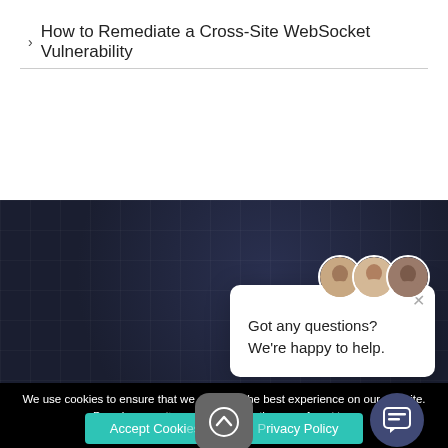How to Remediate a Cross-Site WebSocket Vulnerability
[Figure (screenshot): Dark navy website section showing 'About Onwire' heading with grid background pattern and partial text 'OnWire offers professional']
[Figure (infographic): Chat popup widget with three circular avatars, X close button, and message 'Got any questions? We're happy to help.']
Got any questions? We're happy to help.
We use cookies to ensure that we give you the best experience on our website. By using our s[ite you co]nsent to the use of coo[kies.]
Accept Cooki[es]
Privacy Policy